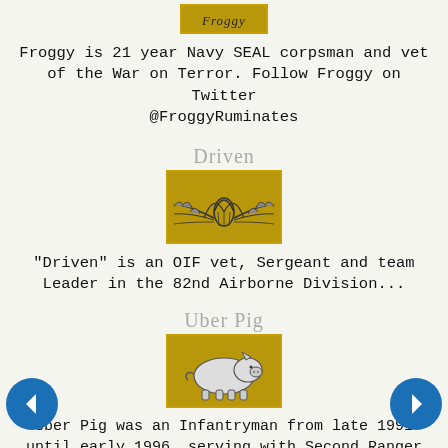[Figure (illustration): Gold/tan badge with cursive signature text for Froggy]
Froggy is 21 year Navy SEAL corpsman and vet of the War on Terror. Follow Froggy on Twitter @FroggyRuminates
Driven
[Figure (illustration): Gold badge with military paratrooper wings insignia]
"Driven" is an OIF vet, Sergeant and team Leader in the 82nd Airborne Division...
Uber Pig
[Figure (illustration): Gold badge with pig illustration]
Uber Pig was an Infantryman from late 1991 until early 1996, serving with Second Ranger Battalion, I Corps, and then 25th Infantry Division. At the time, the Army discriminated against enlisted soldiers who wanted use the "Green to Gold" program to become officers, he left to attend Stanford University. There he became expert in detecting, avoiding, and surviving L-shaped ambushes, before dropping